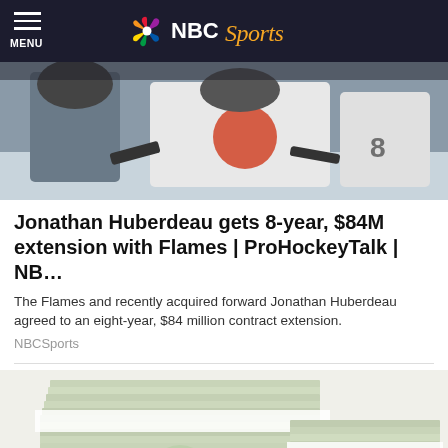MENU | NBC Sports
[Figure (photo): Hockey players on ice, partial view of players in white jerseys with colorful logos]
Jonathan Huberdeau gets 8-year, $84M extension with Flames | ProHockeyTalk | NB…
The Flames and recently acquired forward Jonathan Huberdeau agreed to an eight-year, $84 million contract extension.
NBCSports
[Figure (photo): Stacks of bundled $100 US dollar bills]